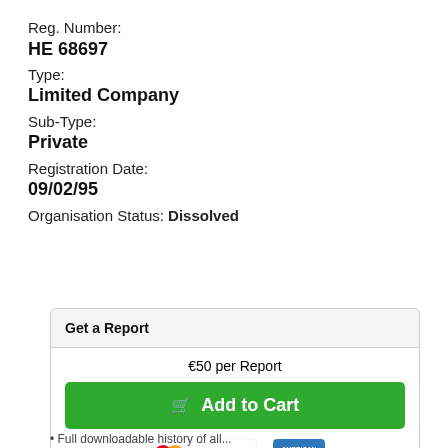Reg. Number:
HE 68697
Type:
Limited Company
Sub-Type:
Private
Registration Date:
09/02/95
Organisation Status: Dissolved
Get a Report
€50 per Report
Add to Cart
[Figure (other): Payment method icons: Mastercard, Visa, American Express, Discover, Diners Club, JCB]
• Full downloadable history of all...